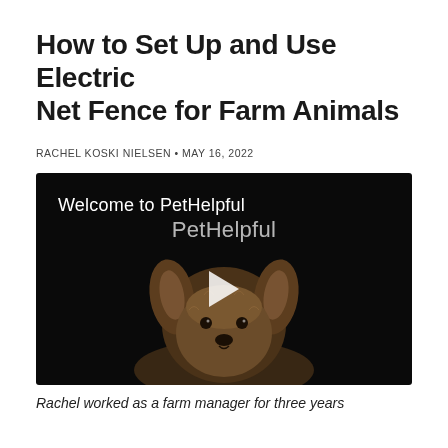How to Set Up and Use Electric Net Fence for Farm Animals
RACHEL KOSKI NIELSEN • MAY 16, 2022
[Figure (screenshot): Video thumbnail with dark background showing a small dog (Yorkshire Terrier) and text 'Welcome to PetHelpful' with a play button overlay]
Rachel worked as a farm manager for three years